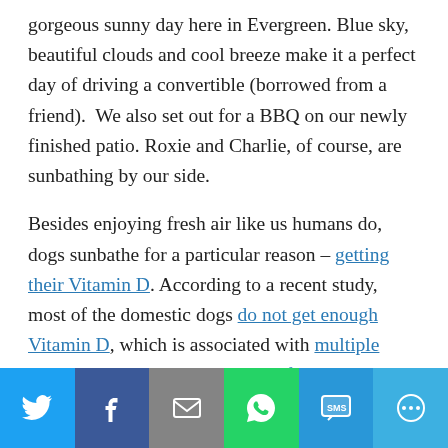gorgeous sunny day here in Evergreen. Blue sky, beautiful clouds and cool breeze make it a perfect day of driving a convertible (borrowed from a friend).  We also set out for a BBQ on our newly finished patio. Roxie and Charlie, of course, are sunbathing by our side.
Besides enjoying fresh air like us humans do, dogs sunbathe for a particular reason – getting their Vitamin D. According to a recent study, most of the domestic dogs do not get enough Vitamin D, which is associated with multiple diseases in dogs, including heart failure and cancer. Neutered male dogs have the lowest
[Figure (infographic): Social sharing bar with Twitter, Facebook, Email, WhatsApp, SMS, and More buttons]